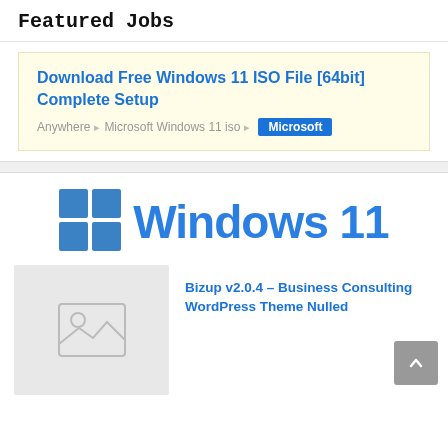Featured Jobs
Download Free Windows 11 ISO File [64bit] Complete Setup
Anywhere ▸ Microsoft Windows 11 iso ▸ Microsoft
[Figure (logo): Windows 11 logo with four blue squares and Windows 11 text in blue]
[Figure (photo): Placeholder image with mountain and circle icon]
Bizup v2.0.4 – Business Consulting WordPress Theme Nulled